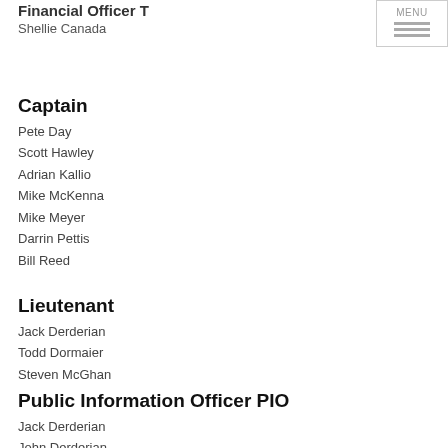Financial Officer T
Shellie Canada
Captain
Pete Day
Scott Hawley
Adrian Kallio
Mike McKenna
Mike Meyer
Darrin Pettis
Bill Reed
Lieutenant
Jack Derderian
Todd Dormaier
Steven McGhan
Public Information Officer PIO
Jack Derderian
John Derderian